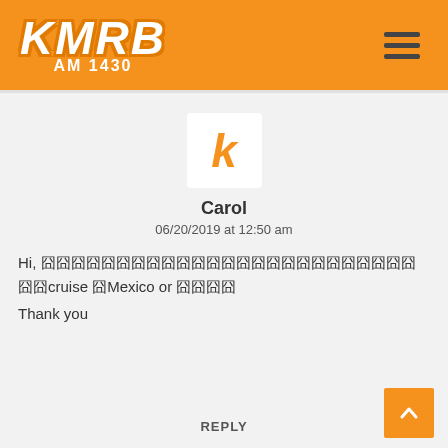[Figure (logo): KMRB AM 1430 radio station logo in white italic bold text on orange background]
Carol
06/20/2019 at 12:50 am
Hi, 囧囧囧囧囧囧囧囧囧囧囧囧囧囧囧囧囧囧囧囧囧囧囧囧囧囧囧cruise 囧Mexico or 囧囧囧囧
Thank you
REPLY